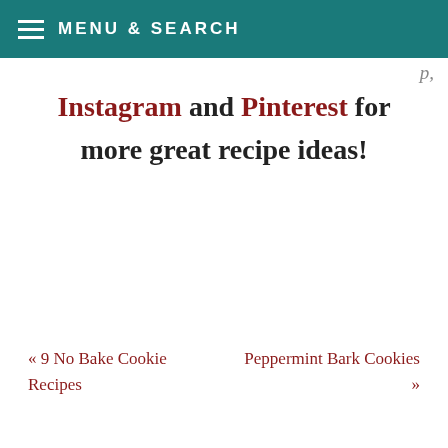MENU & SEARCH
…p,
Instagram and Pinterest for more great recipe ideas!
« 9 No Bake Cookie Recipes
Peppermint Bark Cookies »